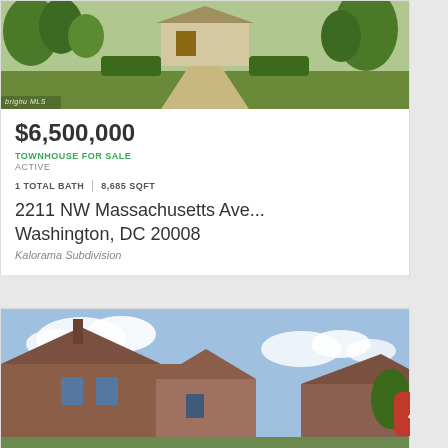[Figure (photo): Exterior photo of a house with garden/lawn and pathway, brightMLS watermark]
$6,500,000
TOWNHOUSE FOR SALE
ACTIVE
1 TOTAL BATH | 8,685 SQFT
2211 NW Massachusetts Ave... Washington, DC 20008
Kalorama Subdivision
[Figure (photo): Exterior photo of a brick townhouse against a partly cloudy sky]